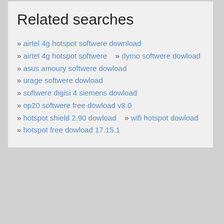Related searches
airtel 4g hotspot softwere download
airtel 4g hotspot softwere   » dymo softwere dowload
asus amoury softwere dowload
urage softwere dowload
softwere digisi 4 siemens dowload
op20 softwere free dowload v8.0
hotspot shield 2.90 dowload   » wifi hotspot dowload
hotspot free dowload 17.15.1